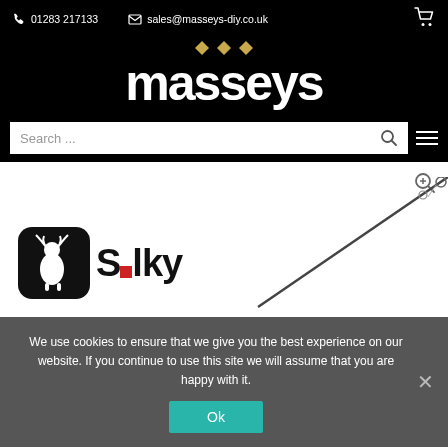01283 217133 | sales@masseys-diy.co.uk
[Figure (logo): Masseys DIY logo with gold diamond decorations above white bold text 'masseys' on black background]
Search ...
[Figure (logo): Silky brand logo - black rounded square with deer/stag icon and red square, bold text 'Silky']
[Figure (photo): Silky pruning saw/pole saw against white background]
We use cookies to ensure that we give you the best experience on our website. If you continue to use this site we will assume that you are happy with it.